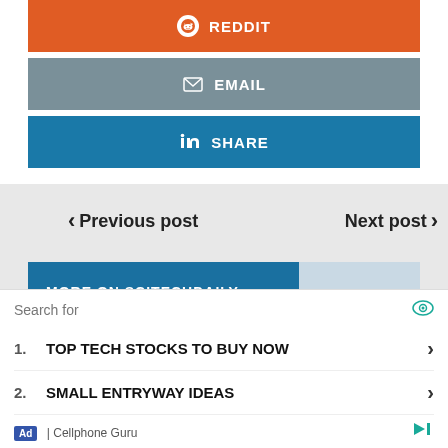REDDIT
EMAIL
SHARE
< Previous post    Next post >
MORE ON SCITECHDAILY
[Figure (photo): Thumbnail image, dark space/astronomical photo]
Search for
1. TOP TECH STOCKS TO BUY NOW
2. SMALL ENTRYWAY IDEAS
Ad | Cellphone Guru